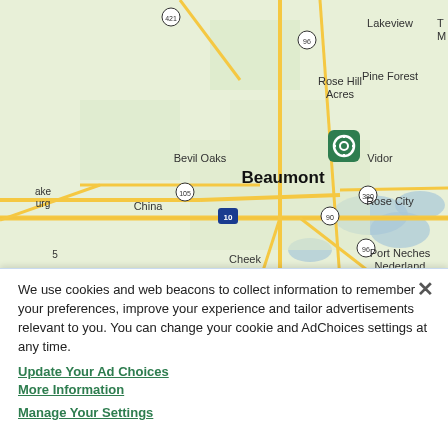[Figure (map): Google Maps view centered on Beaumont, Texas, showing surrounding areas including Rose Hill Acres, Lakeview, Pine Forest, Bevil Oaks, Vidor, Rose City, China, Cheek, Port Neches, and Nederland. Roads including I-10, US-90, US-96, TX-380, TX-105, and TX-421 are visible. A green map pin marker is shown near the center.]
We use cookies and web beacons to collect information to remember your preferences, improve your experience and tailor advertisements relevant to you. You can change your cookie and AdChoices settings at any time.
Update Your Ad Choices
More Information
Manage Your Settings